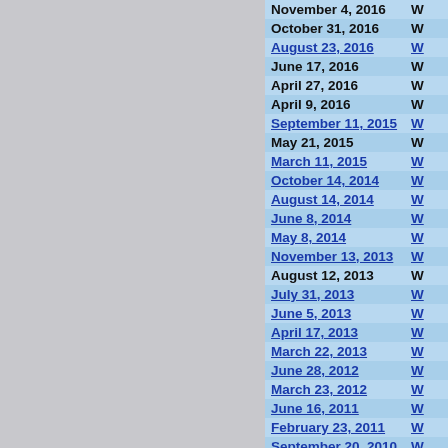[Figure (photo): Left panel showing a gray/blue-tinted image, partially visible, appears to be a nature or landscape photo with gray and blue tones]
| Date | Link |
| --- | --- |
| November 4, 2016 | W... |
| October 31, 2016 | W... |
| August 23, 2016 | W... |
| June 17, 2016 | W... |
| April 27, 2016 | W... |
| April 9, 2016 | W... |
| September 11, 2015 | W... |
| May 21, 2015 | W... |
| March 11, 2015 | W... |
| October 14, 2014 | W... |
| August 14, 2014 | W... |
| June 8, 2014 | W... |
| May 8, 2014 | W... |
| November 13, 2013 | W... |
| August 12, 2013 | W... |
| July 31, 2013 | W... |
| June 5, 2013 | W... |
| April 17, 2013 | W... |
| March 22, 2013 | W... |
| June 28, 2012 | W... |
| March 23, 2012 | W... |
| June 16, 2011 | W... |
| February 23, 2011 | W... |
| September 20, 2010 | W... |